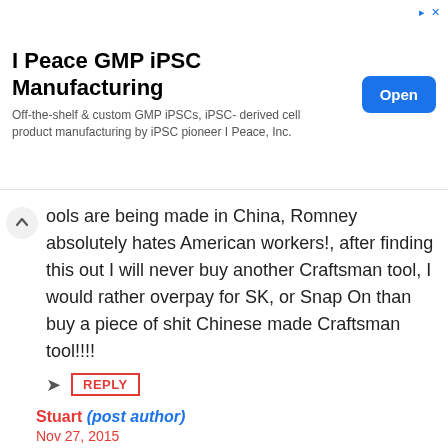[Figure (other): Advertisement banner: I Peace GMP iPSC Manufacturing. Off-the-shelf & custom GMP iPSCs, iPSC-derived cell product manufacturing by iPSC pioneer I Peace, Inc. With 'Open' button.]
ools are being made in China, Romney absolutely hates American workers!, after finding this out I will never buy another Craftsman tool, I would rather overpay for SK, or Snap On than buy a piece of shit Chinese made Craftsman tool!!!!
REPLY
Stuart (post author)
Nov 27, 2015
Sorry, but you are wrong. Danaher is not owned by Bain Capital.

Apex Tool Group is owned by Bain Capital, and was previously a joint venture between Danaher and Cooper Tools.